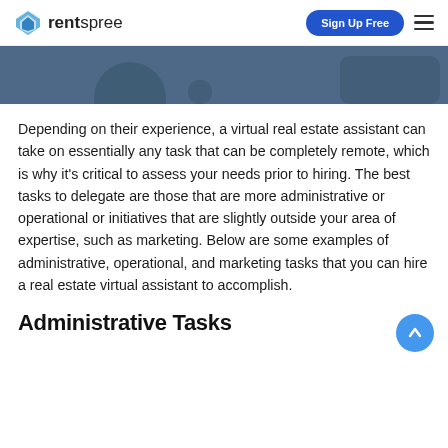rentspree | Sign Up Free
[Figure (illustration): Partial hero image with blue-grey background, partially visible figures]
Depending on their experience, a virtual real estate assistant can take on essentially any task that can be completely remote, which is why it's critical to assess your needs prior to hiring. The best tasks to delegate are those that are more administrative or operational or initiatives that are slightly outside your area of expertise, such as marketing. Below are some examples of administrative, operational, and marketing tasks that you can hire a real estate virtual assistant to accomplish.
Administrative Tasks